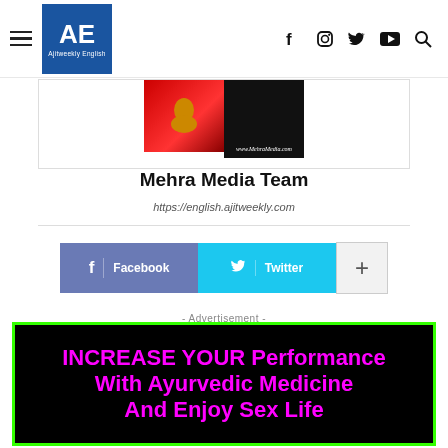AE Ajitweekly English — navigation bar with hamburger menu, logo, and social icons (f, Instagram, Twitter, YouTube, Search)
[Figure (photo): Mehra Media logo image with red and black halves and url www.MehraMedia.com]
Mehra Media Team
https://english.ajitweekly.com
Facebook  Twitter  +
- Advertisement -
[Figure (infographic): Advertisement banner: black background with bright green border, magenta text reading INCREASE YOUR Performance With Ayurvedic Medicine And Enjoy Sex Life]